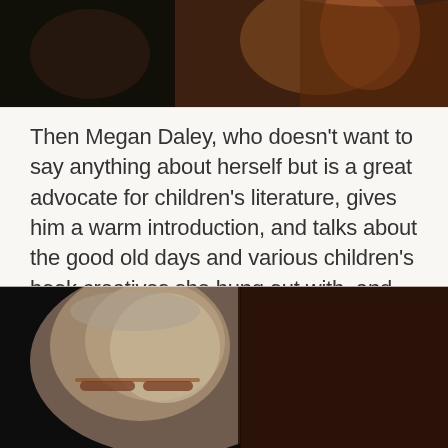[Figure (photo): Top photo showing people at an event, dark and dimly lit, with one person with red/auburn hair visible on the right side]
Then Megan Daley, who doesn't want to say anything about herself but is a great advocate for children's literature, gives him a warm introduction, and talks about the good old days and various children's book creatives she hung out with, and Book Links and the dream for a children's literature centre in Brisbane. Everyone in the audience claps keen support for that idea.
[Figure (photo): Bottom photo showing an older person with grey hair and glasses, photographed indoors with a dark background]